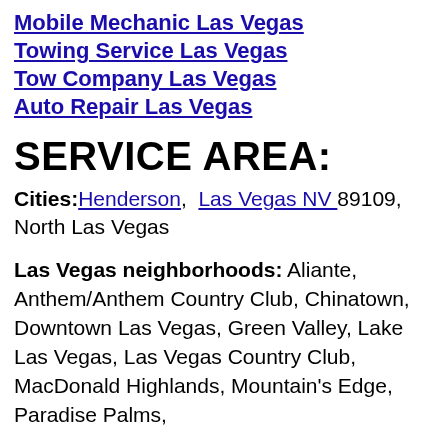Mobile Mechanic Las Vegas
Towing Service Las Vegas
Tow Company Las Vegas
Auto Repair Las Vegas
SERVICE AREA:
Cities: Henderson, Las Vegas NV 89109, North Las Vegas
Las Vegas neighborhoods: Aliante, Anthem/Anthem Country Club, Chinatown, Downtown Las Vegas, Green Valley, Lake Las Vegas, Las Vegas Country Club, MacDonald Highlands, Mountain's Edge, Paradise Palms,